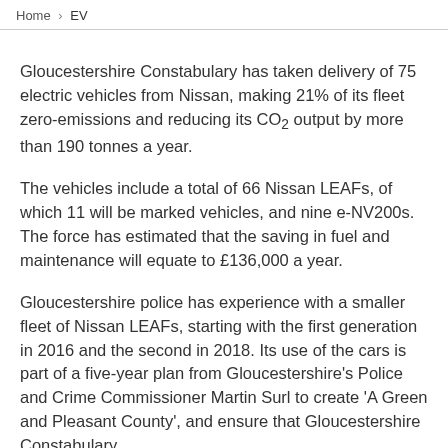Home > EV
Gloucestershire Constabulary has taken delivery of 75 electric vehicles from Nissan, making 21% of its fleet zero-emissions and reducing its CO₂ output by more than 190 tonnes a year.
The vehicles include a total of 66 Nissan LEAFs, of which 11 will be marked vehicles, and nine e-NV200s. The force has estimated that the saving in fuel and maintenance will equate to £136,000 a year.
Gloucestershire police has experience with a smaller fleet of Nissan LEAFs, starting with the first generation in 2016 and the second in 2018. Its use of the cars is part of a five-year plan from Gloucestershire's Police and Crime Commissioner Martin Surl to create 'A Green and Pleasant County', and ensure that Gloucestershire Constabulary